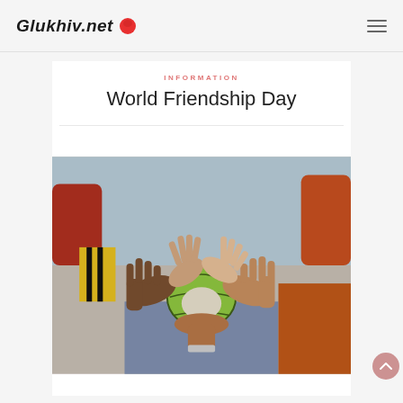Glukhiv.net
INFORMATION
World Friendship Day
[Figure (photo): Group of people's hands coming together holding a soccer/handball ball, viewed from below, showing diverse hands in a team huddle gesture]